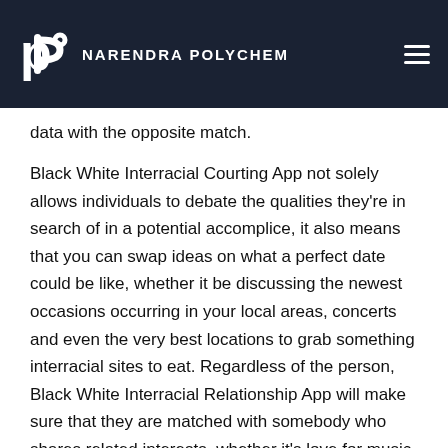NARENDRA POLYCHEM
data with the opposite match.
Black White Interracial Courting App not solely allows individuals to debate the qualities they're in search of in a potential accomplice, it also means that you can swap ideas on what a perfect date could be like, whether it be discussing the newest occasions occurring in your local areas, concerts and even the very best locations to grab something interracial sites to eat. Regardless of the person, Black White Interracial Relationship App will make sure that they are matched with somebody who shares related interests, whether it's love for music or sporting occasions to meals and strolls